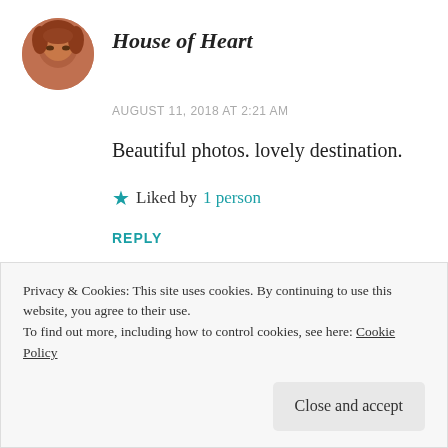House of Heart
AUGUST 11, 2018 AT 2:21 AM
Beautiful photos. lovely destination.
Liked by 1 person
REPLY
[Figure (photo): Circular avatar photo of a person with reddish-brown hair, only eyes and top of face visible]
Privacy & Cookies: This site uses cookies. By continuing to use this website, you agree to their use.
To find out more, including how to control cookies, see here: Cookie Policy
Close and accept